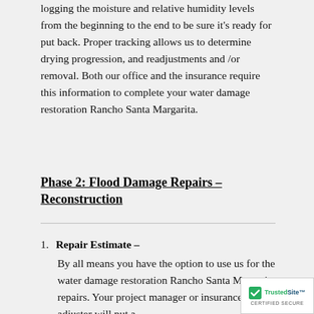logging the moisture and relative humidity levels from the beginning to the end to be sure it's ready for put back. Proper tracking allows us to determine drying progression, and readjustments and /or removal. Both our office and the insurance require this information to complete your water damage restoration Rancho Santa Margarita.
Phase 2: Flood Damage Repairs – Reconstruction
Repair Estimate – By all means you have the option to use us for the water damage restoration Rancho Santa Margarita repairs. Your project manager or insurance adjuster will put a